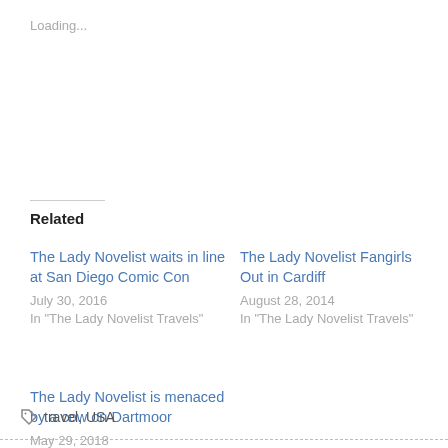Loading...
Related
The Lady Novelist waits in line at San Diego Comic Con
July 30, 2016
In "The Lady Novelist Travels"
The Lady Novelist Fangirls Out in Cardiff
August 28, 2014
In "The Lady Novelist Travels"
The Lady Novelist is menaced by a cow on Dartmoor
May 29, 2018
In "The Lady Novelist Travels"
travel, USA